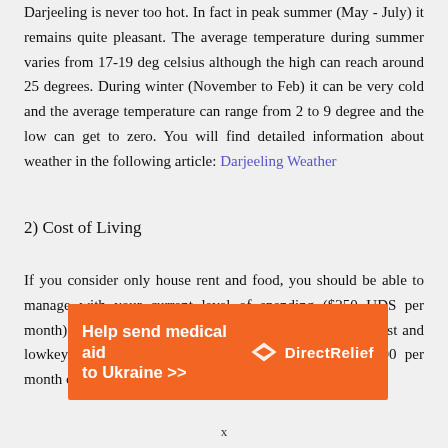Darjeeling is never too hot. In fact in peak summer (May - July) it remains quite pleasant. The average temperature during summer varies from 17-19 deg celsius although the high can reach around 25 degrees. During winter (November to Feb) it can be very cold and the average temperature can range from 2 to 9 degree and the low can get to zero. You will find detailed information about weather in the following article: Darjeeling Weather
2) Cost of Living
If you consider only house rent and food, you should be able to manage with your current level of spending ($250 UDS per month). But as expectedly, that would require a very modest and lowkey living. You will spend about Rupees 5,000-6,000 per month on
[Figure (infographic): Orange advertisement banner for Direct Relief charity: 'Help send medical aid to Ukraine >>' with Direct Relief logo on the right.]
x